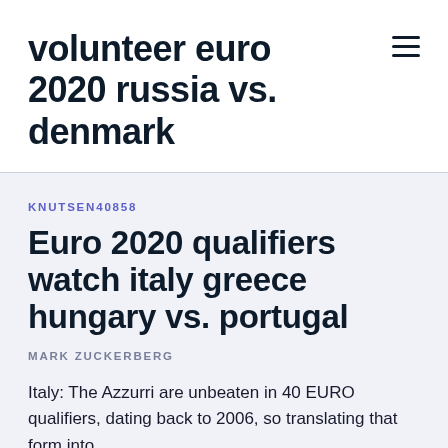volunteer euro 2020 russia vs. denmark
KNUTSEN40858
Euro 2020 qualifiers watch italy greece hungary vs. portugal
MARK ZUCKERBERG
Italy: The Azzurri are unbeaten in 40 EURO qualifiers, dating back to 2006, so translating that form into